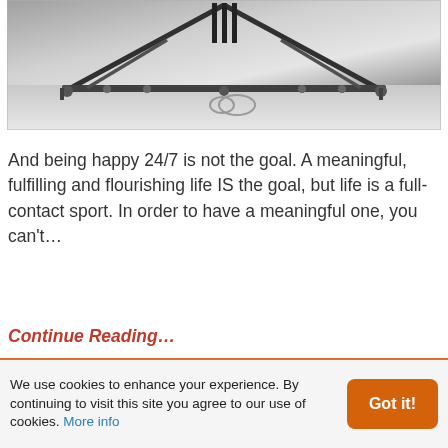[Figure (photo): Black and white photograph of a metal triangular frame structure (musical triangle or instrument stand) with bolts, resting on a white surface]
And being happy 24/7 is not the goal. A meaningful, fulfilling and flourishing life IS the goal, but life is a full-contact sport. In order to have a meaningful one, you can't…
Continue Reading…
We use cookies to enhance your experience. By continuing to visit this site you agree to our use of cookies. More info